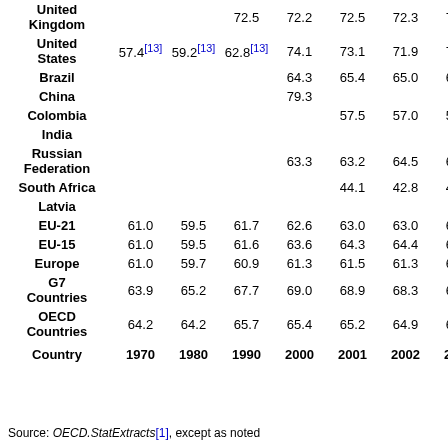| Country | 1970 | 1980 | 1990 | 2000 | 2001 | 2002 | 2003 | 2004 |
| --- | --- | --- | --- | --- | --- | --- | --- | --- |
| United Kingdom |  |  | 72.5 | 72.2 | 72.5 | 72.3 | 72.6 | 72.7 |
| United States | 57.4[13] | 59.2[13] | 62.8[13] | 74.1 | 73.1 | 71.9 | 71.2 | 71.2 |
| Brazil |  |  |  | 64.3 | 65.4 | 65.0 | 66.5 |  |
| China |  |  |  | 79.3 |  |  |  |  |
| Colombia |  |  |  |  | 57.5 | 57.0 | 58.5 | 57.5 |
| India |  |  |  |  |  |  |  |  |
| Russian Federation |  |  |  | 63.3 | 63.2 | 64.5 | 64.1 | 65.5 |
| South Africa |  |  |  |  | 44.1 | 42.8 | 41.5 | 41.6 |
| Latvia |  |  |  |  |  |  |  |  |
| EU-21 | 61.0 | 59.5 | 61.7 | 62.6 | 63.0 | 63.0 | 63.2 | 63.5 |
| EU-15 | 61.0 | 59.5 | 61.6 | 63.6 | 64.3 | 64.4 | 64.6 | 65.0 |
| Europe | 61.0 | 59.7 | 60.9 | 61.3 | 61.5 | 61.3 | 61.2 | 61.4 |
| G7 Countries | 63.9 | 65.2 | 67.7 | 69.0 | 68.9 | 68.3 | 68.2 | 68.4 |
| OECD Countries | 64.2 | 64.2 | 65.7 | 65.4 | 65.2 | 64.9 | 64.7 | 65.0 |
Source: OECD.StatExtracts[1], except as noted